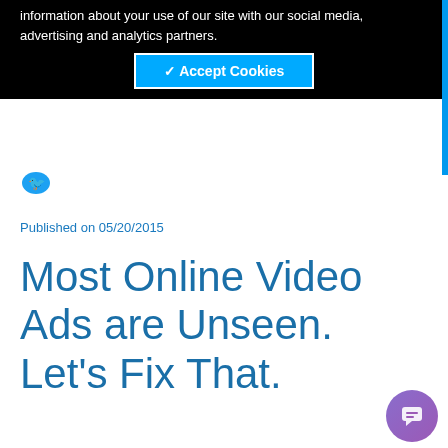information about your use of our site with our social media, advertising and analytics partners.
✓ Accept Cookies
Published on 05/20/2015
Most Online Video Ads are Unseen. Let's Fix That.